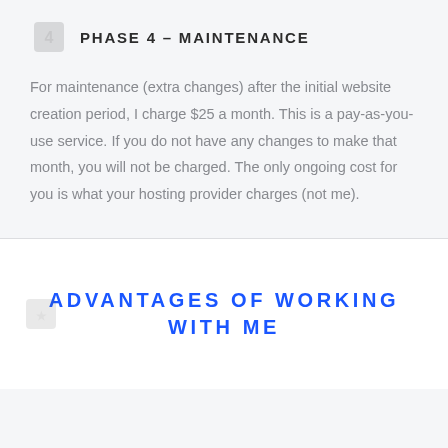PHASE 4 – MAINTENANCE
For maintenance (extra changes) after the initial website creation period, I charge $25 a month. This is a pay-as-you-use service. If you do not have any changes to make that month, you will not be charged. The only ongoing cost for you is what your hosting provider charges (not me).
ADVANTAGES OF WORKING WITH ME